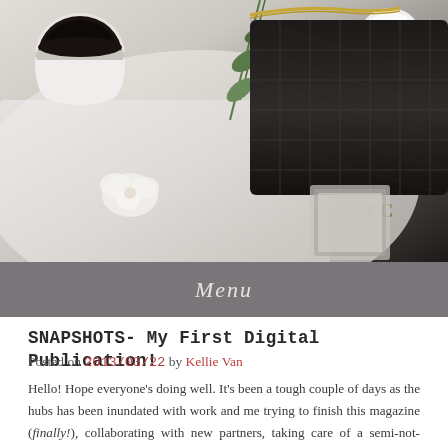[Figure (photo): Flat lay lifestyle photo showing a black Chanel handbag with gold chain, a cup of black coffee, white flowers, green leaves/stems, a white cloth, and a framed picture on a white background.]
Menu
SNAPSHOTS- My First Digital Publication!
Posted on 2013/03/22 by Kellie Van
Hello! Hope everyone's doing well. It's been a tough couple of days as the hubs has been inundated with work and me trying to finish this magazine (finally!), collaborating with new partners, taking care of a semi-not-feeling-so-well-superwhiny Zoey, and packing for our upcoming trip this weekend.